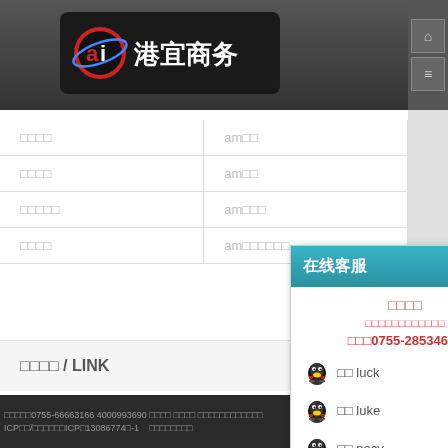[Figure (logo): 港宜商务 logo with circular 'ai' icon and Chinese text]
| □□□□ | am□□ |
| □□□□ | am□□ |
| □□□□□ | am□□□ |
| □□□□ | am□□□□□□ |
□□□□ / LINK
□□□□□0755-66663166 4000993690 □□□□ □□□□ □□□□□□□□□□
ICP□□/□□□□□□ICP□13086774□-1   □□□□□□□□
在线客服
□□□□
□□□□□□□□□□□□
□□□0755-28534690
□□ luck
□□ luke
□□ nacy
□□ NIke
□□ Angel
□□ zhang
□□ zhao
□□ Tony